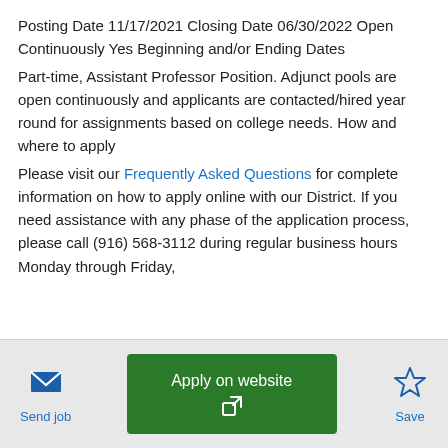Posting Date 11/17/2021 Closing Date 06/30/2022 Open Continuously Yes Beginning and/or Ending Dates
Part-time, Assistant Professor Position. Adjunct pools are open continuously and applicants are contacted/hired year round for assignments based on college needs. How and where to apply
Please visit our Frequently Asked Questions for complete information on how to apply online with our District. If you need assistance with any phase of the application process, please call (916) 568-3112 during regular business hours Monday through Friday,